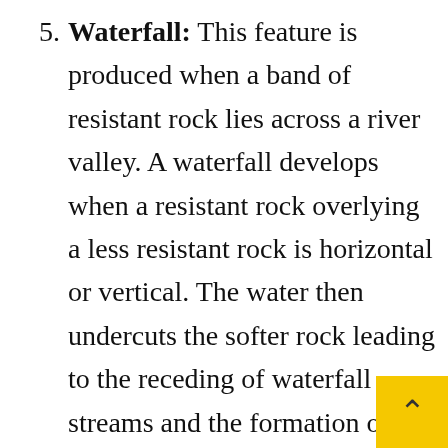5. Waterfall: This feature is produced when a band of resistant rock lies across a river valley. A waterfall develops when a resistant rock overlying a less resistant rock is horizontal or vertical. The water then undercuts the softer rock leading to the receding of waterfall streams and the formation of plunge pool. Examples are Kurra falls on River Kurra near Jos (Nigeria), Victoria falls on River Zambezi, Livingstone falls on River Zaire, Niagara falls, Erin-ijesa fall, Gurara